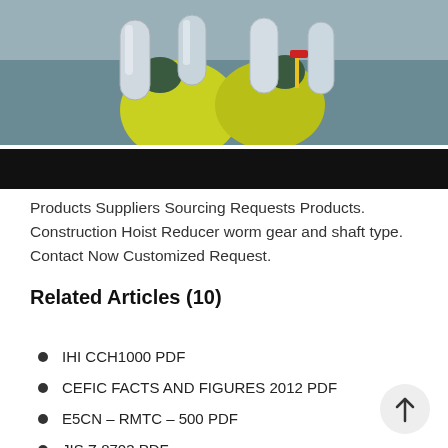[Figure (photo): Worker in yellow hi-vis jacket holding metal cylindrical hoist/reducer equipment outdoors, with black bar below the photo]
Products Suppliers Sourcing Requests Products. Construction Hoist Reducer worm gear and shaft type. Contact Now Customized Request.
Related Articles (10)
IHI CCH1000 PDF
CEFIC FACTS AND FIGURES 2012 PDF
E5CN – RMTC – 500 PDF
JIS Z 8703 PDF